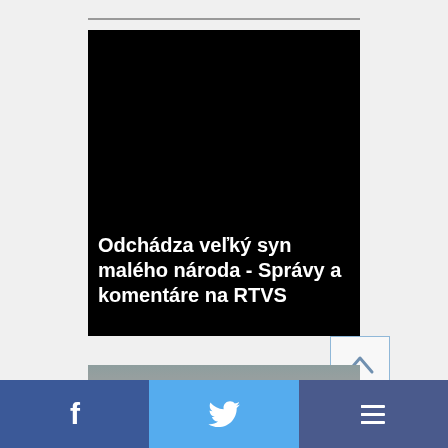[Figure (screenshot): Black video thumbnail with white bold text overlay reading 'Odchádza veľký syn malého národa - Správy a komentáre na RTVS']
[Figure (photo): Partial photo visible below the video thumbnail, appears to show a person in an indoor setting with grey/neutral tones]
[Figure (infographic): Social sharing bar at the bottom with Facebook (blue), Twitter (light blue), and a menu/share icon (dark blue) buttons]